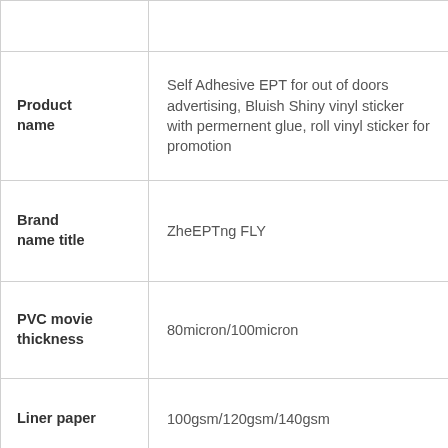| Attribute | Value |
| --- | --- |
|  |  |
| Product name | Self Adhesive EPT for out of doors advertising, Bluish Shiny vinyl sticker with permernent glue, roll vinyl sticker for promotion |
| Brand name title | ZheEPTng FLY |
| PVC movie thickness | 80micron/100micron |
| Liner paper | 100gsm/120gsm/140gsm |
| Glue type | permanent/detachable/bubble totally free |
| Glue Selection | white/grey/black/transparent |